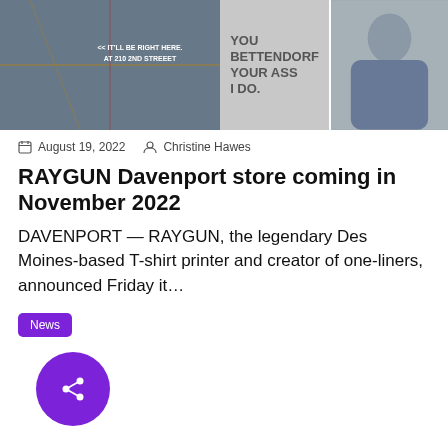[Figure (photo): Hero image composed of three panels: left panel shows a map overlay with text '<<IT'LL BE RIGHT HERE. AT 210 2ND STREEET', center panel shows text 'YOU BETTENDORF YOUR ASS I DO.', right panel shows a man in a blue jacket.]
August 19, 2022   Christine Hawes
RAYGUN Davenport store coming in November 2022
DAVENPORT — RAYGUN, the legendary Des Moines-based T-shirt printer and creator of one-liners, announced Friday it…
News
[Figure (illustration): Purple circular share button with share/network icon in white]